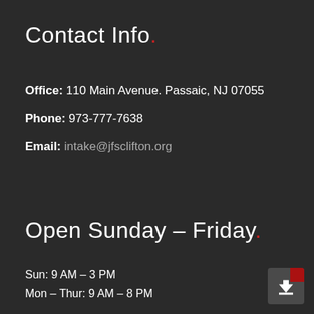Contact Info.
Office: 110 Main Avenue. Passaic, NJ 07055
Phone: 973-777-7638
Email: intake@jfsclifton.org
Open Sunday – Friday.
Sun: 9 AM – 3 PM
Mon – Thur: 9 AM – 8 PM